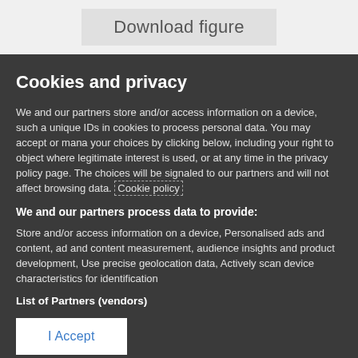[Figure (screenshot): Download figure button in a light gray bar at top of page]
Cookies and privacy
We and our partners store and/or access information on a device, such as unique IDs in cookies to process personal data. You may accept or manage your choices by clicking below, including your right to object where legitimate interest is used, or at any time in the privacy policy page. These choices will be signaled to our partners and will not affect browsing data. Cookie policy
We and our partners process data to provide:
Store and/or access information on a device, Personalised ads and content, ad and content measurement, audience insights and product development, Use precise geolocation data, Actively scan device characteristics for identification
List of Partners (vendors)
I Accept